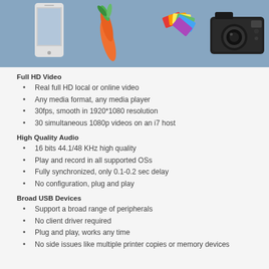[Figure (illustration): Flat illustration showing a smartphone, a carrot, color swatches/stickers, and a digital camera on a blue/grey background.]
Full HD Video
Real full HD local or online video
Any media format, any media player
30fps, smooth in 1920*1080 resolution
30 simultaneous 1080p videos on an i7 host
High Quality Audio
16 bits 44.1/48 KHz high quality
Play and record in all supported OSs
Fully synchronized, only 0.1-0.2 sec delay
No configuration, plug and play
Broad USB Devices
Support a broad range of peripherals
No client driver required
Plug and play, works any time
No side issues like multiple printer copies or memory devices